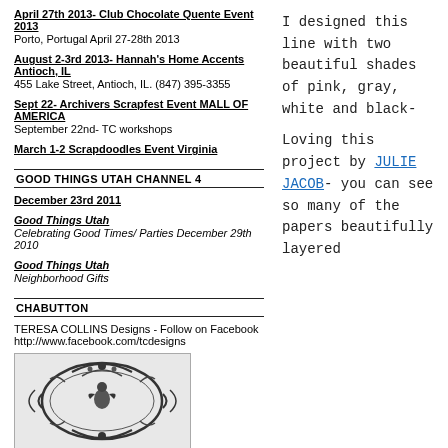April 27th 2013- Club Chocolate Quente Event 2013
Porto, Portugal April 27-28th 2013
August 2-3rd 2013- Hannah's Home Accents Antioch, IL
455 Lake Street, Antioch, IL. (847) 395-3355
Sept 22- Archivers Scrapfest Event MALL OF AMERICA
September 22nd- TC workshops
March 1-2 Scrapdoodles Event Virginia
GOOD THINGS UTAH CHANNEL 4
December 23rd 2011
Good Things Utah
Celebrating Good Times/ Parties December 29th 2010
Good Things Utah
Neighborhood Gifts
CHABUTTON
TERESA COLLINS Designs - Follow on Facebook
http://www.facebook.com/tcdesigns
[Figure (illustration): Ornate decorative frame illustration, black and white, with floral/scroll motifs]
I designed this line with two beautiful shades of pink, gray, white and black-

Loving this project by JULIE JACOB- you can see so many of the papers beautifully layered